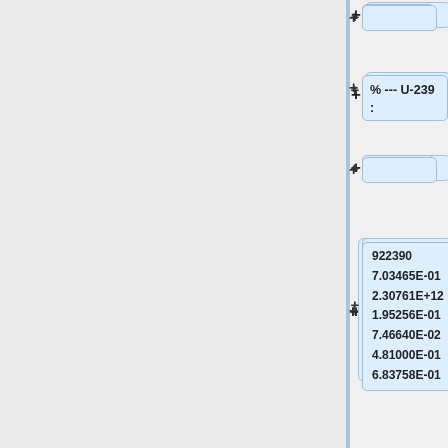[Figure (flowchart): Tree/flowchart diagram showing nuclear data entries for U-239 (922390) with scientific notation values. Multiple nodes connected by plus signs showing branches with values: 922390, 7.03465E-01, 2.30761E+12, 1.95256E-01, 7.46640E-02, 4.81000E-01, 6.83758E-01 and a second branch with 1.44400E-02, 1.33667E-01, 8.73771E-01, and a third partial branch starting with 922390, 7.03465E-01. A labeled node reads '% --- U-239 :'.]